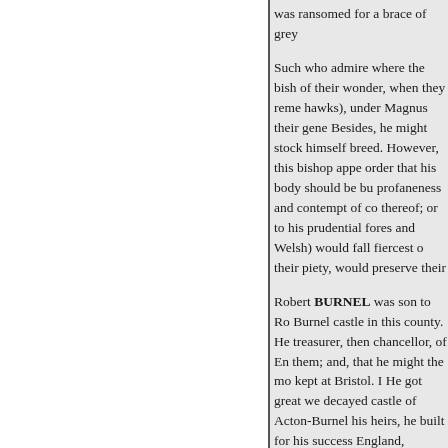was ransomed for a brace of grey
Such who admire where the bish of their wonder, when they reme hawks), under Magnus their gene Besides, he might stock himself breed. However, this bishop appe order that his body should be bu profaneness and contempt of co thereof; or to his prudential fores and Welsh) would fall fiercest o their piety, would preserve their
Robert BURNEL was son to Ro Burnel castle in this county. He treasurer, then chancellor, of En them; and, that he might the mor kept at Bristol. I He got great we decayed castle of Acton-Burnel his heirs, he built for his success England, plucked down by Sir Jo Sixth.
Bp. Godwin, in his Bishops o